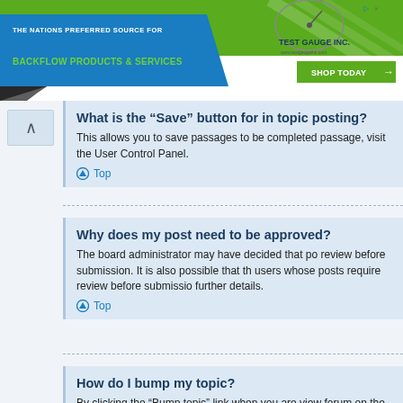[Figure (screenshot): Banner advertisement for Test Gauge Inc. — The Nation's Preferred Source for Backflow Products & Services with a 'Shop Today' button]
What is the “Save” button for in topic posting?
This allows you to save passages to be completed passage, visit the User Control Panel.
Top
Why does my post need to be approved?
The board administrator may have decided that po review before submission. It is also possible that th users whose posts require review before submissio further details.
Top
How do I bump my topic?
By clicking the “Bump topic” link when you are view forum on the first page. However, if you do not see time allowance between bumps has not yet been r simply by replying to it, however, be sure to follow t
Top